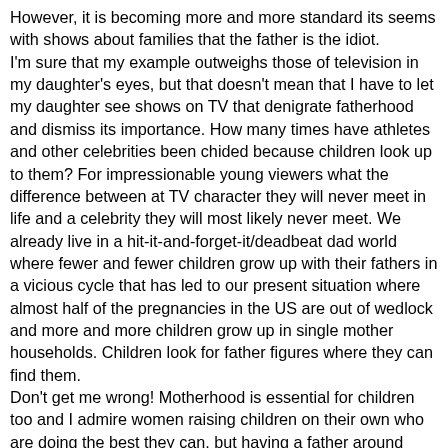However, it is becoming more and more standard its seems with shows about families that the father is the idiot. I'm sure that my example outweighs those of television in my daughter's eyes, but that doesn't mean that I have to let my daughter see shows on TV that denigrate fatherhood and dismiss its importance. How many times have athletes and other celebrities been chided because children look up to them? For impressionable young viewers what the difference between at TV character they will never meet in life and a celebrity they will most likely never meet. We already live in a hit-it-and-forget-it/deadbeat dad world where fewer and fewer children grow up with their fathers in a vicious cycle that has led to our present situation where almost half of the pregnancies in the US are out of wedlock and more and more children grow up in single mother households. Children look for father figures where they can find them. Don't get me wrong! Motherhood is essential for children too and I admire women raising children on their own who are doing the best they can, but having a father around significantly increased the odds of the children staying out of poverty and out of trouble. The problem usually isn't the mother; its usually a father who can't be bothered to love and